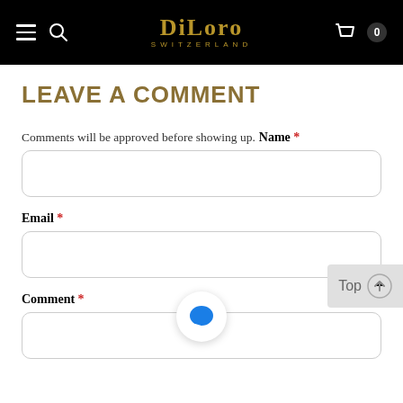DiLoro SWITZERLAND — navigation header with hamburger menu, search, cart (0)
LEAVE A COMMENT
Comments will be approved before showing up.
Name *
Email *
Comment *